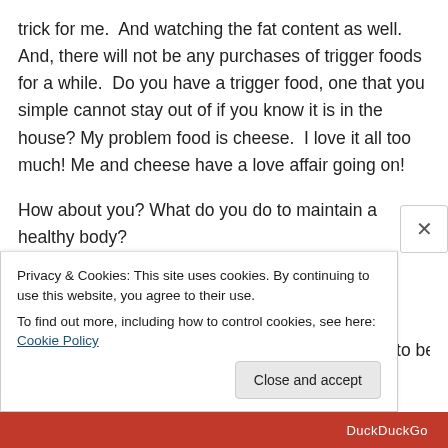trick for me.  And watching the fat content as well.   And, there will not be any purchases of trigger foods for a while.  Do you have a trigger food, one that you simple cannot stay out of if you know it is in the house? My problem food is cheese.  I love it all too much! Me and cheese have a love affair going on!
How about you? What do you do to maintain a healthy body?
P.S.  I do not believe woman need to be a size 2 to be
Privacy & Cookies: This site uses cookies. By continuing to use this website, you agree to their use.
To find out more, including how to control cookies, see here: Cookie Policy